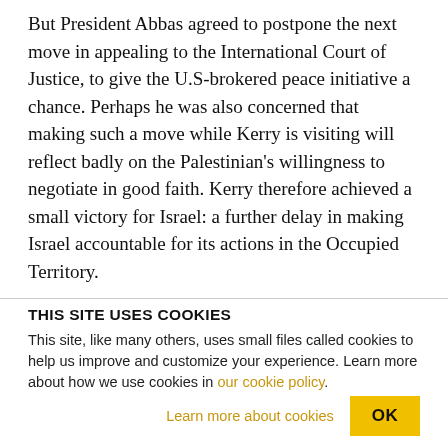But President Abbas agreed to postpone the next move in appealing to the International Court of Justice, to give the U.S-brokered peace initiative a chance. Perhaps he was also concerned that making such a move while Kerry is visiting will reflect badly on the Palestinian's willingness to negotiate in good faith. Kerry therefore achieved a small victory for Israel: a further delay in making Israel accountable for its actions in the Occupied Territory.
THIS SITE USES COOKIES
This site, like many others, uses small files called cookies to help us improve and customize your experience. Learn more about how we use cookies in our cookie policy.
Learn more about cookies
OK